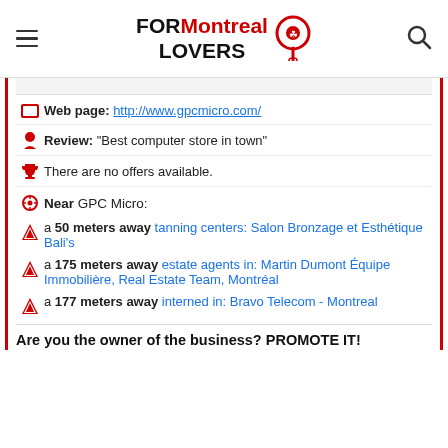FOR Montreal LOVERS
Web page: http://www.gpcmicro.com/
Review: "Best computer store in town"
There are no offers available.
Near GPC Micro:
a 50 meters away tanning centers: Salon Bronzage et Esthétique Bali's
a 175 meters away estate agents in: Martin Dumont Équipe Immobilière, Real Estate Team, Montréal
a 177 meters away interned in: Bravo Telecom - Montreal
Are you the owner of the business? PROMOTE IT!